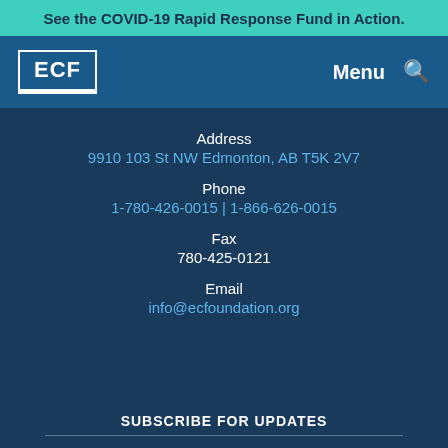See the COVID-19 Rapid Response Fund in Action.
[Figure (logo): ECF logo — white text in bordered box on blue navigation bar, with Menu and search icon]
Address
9910 103 St NW Edmonton, AB T5K 2V7
Phone
1-780-426-0015 | 1-866-626-0015
Fax
780-425-0121
Email
info@ecfoundation.org
SUBSCRIBE FOR UPDATES